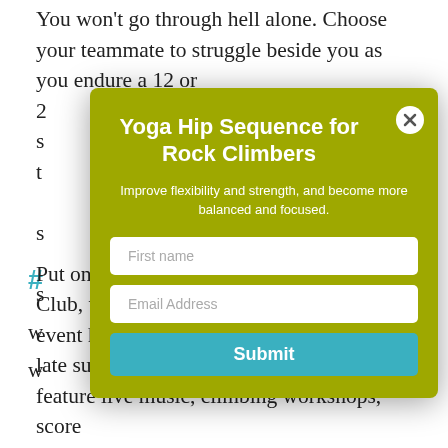You won't go through hell alone. Choose your teammate to struggle beside you as you endure a 12 or 2...
Yoga Hip Sequence for Rock Climbers
Improve flexibility and strength, and become more balanced and focused.
First name
Email Address
Submit
Put on on behalf of the American Alpine Club, the Craggin' Classic is a climbing event held across the United States in the late summer/fall. These 3-day festivals feature live music, climbing workshops, score...